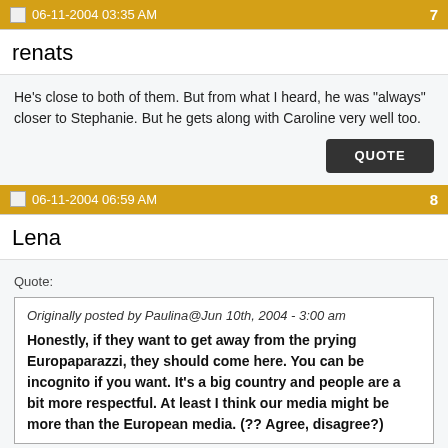06-11-2004 03:35 AM | 7
renats
He&#39;s close to both of them. But from what I heard, he was "always" closer to Stephanie. But he gets along with Caroline very well too.
06-11-2004 06:59 AM | 8
Lena
Quote:
Originally posted by Paulina@Jun 10th, 2004 - 3:00 am
Honestly, if they want to get away from the prying Europaparazzi, they should come here. You can be incognito if you want. It&#39;s a big country and people are a bit more respectful. At least I think our media might be more than the European media. (?? Agree, disagree?)
I don´t think that the country is the problem, but the places to which they go&#33; Caroline is almost always findable at the common